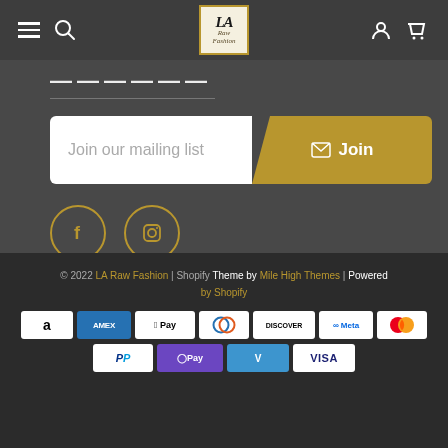[Figure (screenshot): LA Raw Fashion website navigation bar with hamburger menu, search icon, logo, user icon, and cart icon on dark gray background]
Join our mailing list
[Figure (illustration): Facebook and Instagram social media circle icon buttons with gold borders]
© 2022 LA Raw Fashion | Shopify Theme by Mile High Themes | Powered by Shopify
[Figure (illustration): Payment method icons: Amazon, Amex, Apple Pay, Diners Club, Discover, Meta Pay, Mastercard, PayPal, GPay, Venmo, Visa]